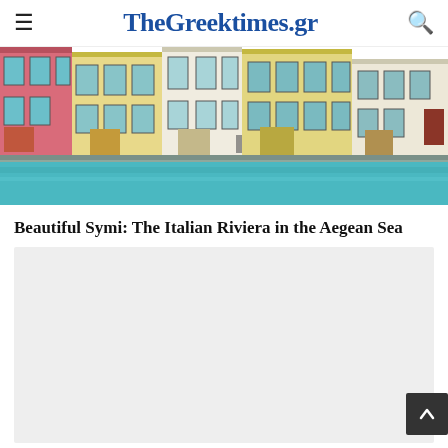TheGreektimes.gr
[Figure (photo): Colorful neoclassical buildings along a waterfront in Symi, Greece, with turquoise water in the foreground. Buildings are multi-colored in pink, yellow, cream and feature traditional architecture with shuttered windows.]
Beautiful Symi: The Italian Riviera in the Aegean Sea
[Figure (other): Advertisement placeholder block with light gray background]